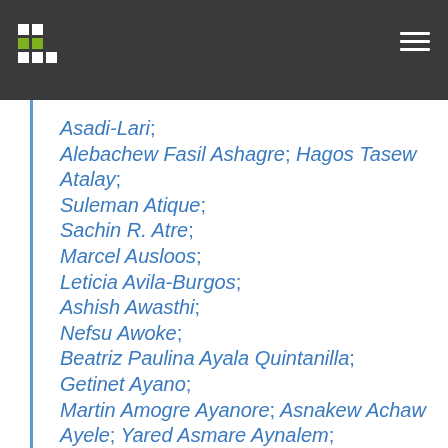Asadi-Lari; Alebachew Fasil Ashagre; Hagos Tasew Atalay; Suleman Atique; Sachin R. Atre; Marcel Ausloos; Leticia Avila-Burgos; Ashish Awasthi; Nefsu Awoke; Beatriz Paulina Ayala Quintanilla; Getinet Ayano; Martin Amogre Ayanore; Asnakew Achaw Ayele; Yared Asmare Aynalem; Samad Azari; Ebrahim Babaee; Alaa Badawi;